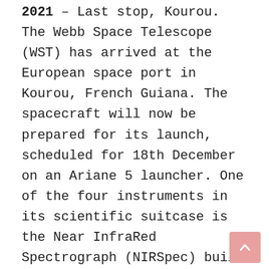2021 – Last stop, Kourou. The Webb Space Telescope (WST) has arrived at the European space port in Kourou, French Guiana. The spacecraft will now be prepared for its launch, scheduled for 18th December on an Ariane 5 launcher. One of the four instruments in its scientific suitcase is the Near InfraRed Spectrograph (NIRSpec) built by Airbus in Germany.
Prior to launch, a complete functional test campaign will be carried out in October to make sure that every part of the spacecraft is still working as expected following its journey to